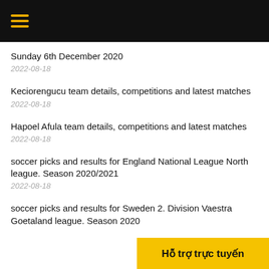☰ (hamburger menu icon)
Sunday 6th December 2020
2022-08-18
Keciorengucu team details, competitions and latest matches
2022-08-18
Hapoel Afula team details, competitions and latest matches
2022-08-18
soccer picks and results for England National League North league. Season 2020/2021
2022-08-18
soccer picks and results for Sweden 2. Division Vaestra Goetaland league. Season 2020
Hỗ trợ trực tuyến